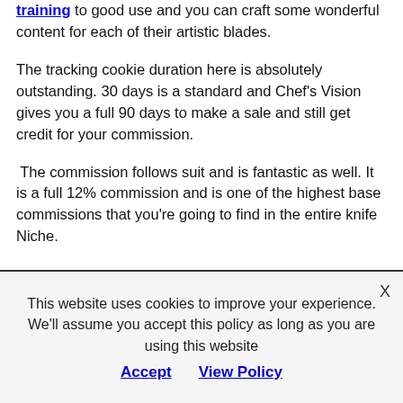training to good use and you can craft some wonderful content for each of their artistic blades.
The tracking cookie duration here is absolutely outstanding. 30 days is a standard and Chef's Vision gives you a full 90 days to make a sale and still get credit for your commission.
The commission follows suit and is fantastic as well. It is a full 12% commission and is one of the highest base commissions that you're going to find in the entire knife Niche.
This website uses cookies to improve your experience. We'll assume you accept this policy as long as you are using this website Accept View Policy